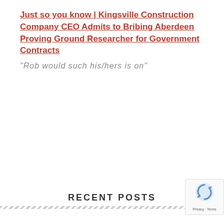Just so you know | Kingsville Construction Company CEO Admits to Bribing Aberdeen Proving Ground Researcher for Government Contracts
“Rob would such his/hers is on”
RECENT POSTS